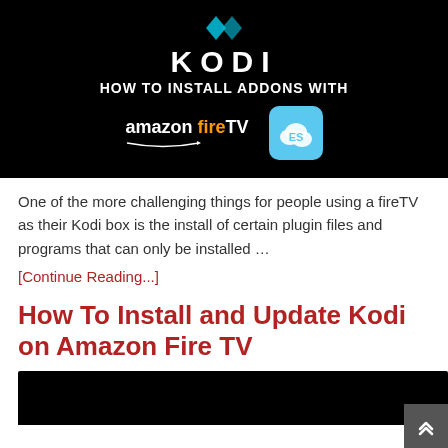[Figure (illustration): Banner image on black background showing Kodi logo (teal diamond shape), text 'KODI', 'HOW TO INSTALL ADDONS WITH', Amazon fireTV logo, and ES File Explorer cloud icon]
One of the more challenging things for people using a fireTV as their Kodi box is the install of certain plugin files and programs that can only be installed …
[Continue Reading...]
How To Install and Update Kodi on Amazon Fire TV
[Figure (screenshot): Bottom portion of a dark/black banner image partially visible at the bottom of the page]